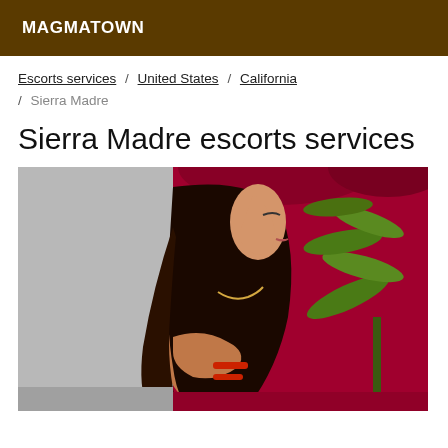MAGMATOWN
Escorts services / United States / California / Sierra Madre
Sierra Madre escorts services
[Figure (photo): Photo of a woman with long dark hair, posed sideways with head tilted back, against a red/crimson sofa background with a green plant on the right side]